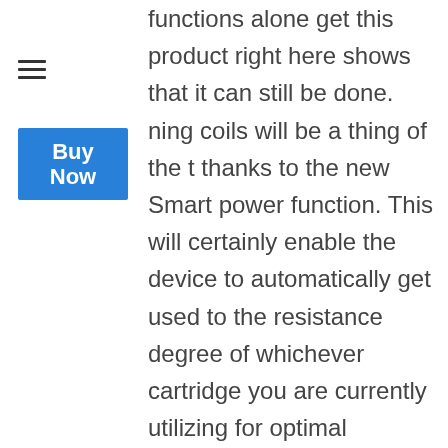functions alone get this product right here shows that it can still be done. ning coils will be a thing of the t thanks to the new Smart power function. This will certainly enable the device to automatically get used to the resistance degree of whichever cartridge you are currently utilizing for optimal efficiency. You will likewise be able to select whether the gadget is activated with a button or via breathing. If you have actually ever before burnt a coil by unintentionally letting something to